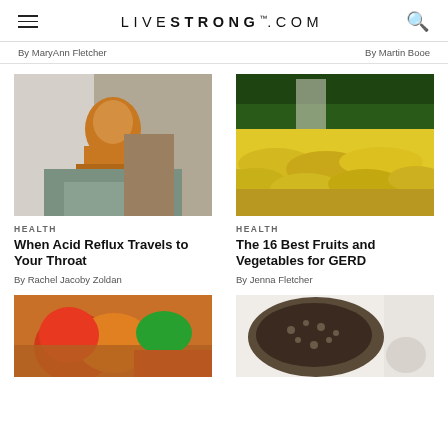LIVESTRONG.COM
By MaryAnn Fletcher
By Martin Booe
[Figure (photo): Woman in yellow sweater sitting on a couch, touching her throat as if in pain from acid reflux]
HEALTH
When Acid Reflux Travels to Your Throat
By Rachel Jacoby Zoldan
[Figure (photo): Rows of yellow bananas on display in a grocery store, with a blurred shopper in background]
HEALTH
The 16 Best Fruits and Vegetables for GERD
By Jenna Fletcher
[Figure (photo): Colorful bell peppers and vegetables on a red checkered cloth]
[Figure (photo): A wooden bowl filled with dark seeds (chia seeds) on a white surface]